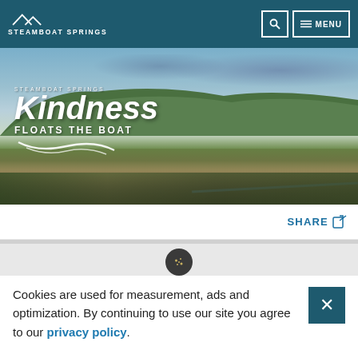STEAMBOAT SPRINGS
[Figure (photo): Aerial panoramic photo of Steamboat Springs town with green mountains in background and dramatic cloudy sky. Text overlay reads 'STEAMBOAT SPRINGS Kindness FLOATS THE BOAT' with a wave graphic.]
SHARE
Cookies are used for measurement, ads and optimization. By continuing to use our site you agree to our privacy policy.